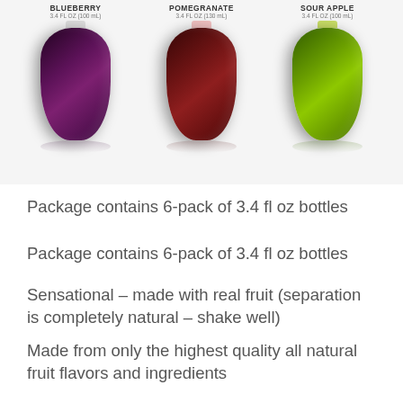[Figure (photo): Three flavored drink bottles: Blueberry (dark purple), Pomegranate (dark red/maroon), and Sour Apple (bright green), each with label text and reflections below, arranged side by side on white background.]
Package contains 6-pack of 3.4 fl oz bottles
Package contains 6-pack of 3.4 fl oz bottles
Sensational – made with real fruit (separation is completely natural – shake well)
Made from only the highest quality all natural fruit flavors and ingredients
Easy to use – makes better martinis and cocktails